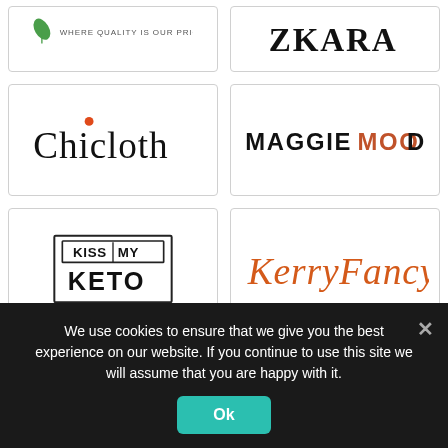[Figure (logo): Partial logo with green leaf and text 'WHERE QUALITY IS OUR PRIORITY']
[Figure (logo): ZKARA brand logo in bold serif letters]
[Figure (logo): Chicloth logo with orange dot over the 'i']
[Figure (logo): MAGGIEMOOD logo with letters OOD in orange/brown]
[Figure (logo): Kiss My Keto logo in rectangular box frames]
[Figure (logo): KerryFancy script logo in orange/rust cursive font]
We use cookies to ensure that we give you the best experience on our website. If you continue to use this site we will assume that you are happy with it.